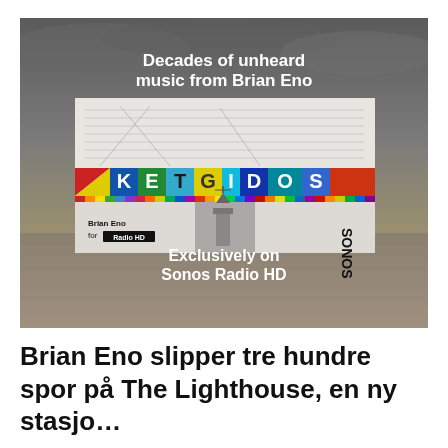[Figure (photo): Promotional image for Brian Eno's 'The Lighthouse' on Sonos Radio HD. Shows a dark cloudy sky and wooden surface background. Text 'Decades of unheard music from Brian Eno' at top. Center shows album/station artwork with colorful geometric shapes and text 'Brian Eno for Radio HD' and 'SONOS'. Bottom text reads 'Exclusively on Sonos Radio HD'.]
Brian Eno slipper tre hundre spor på The Lighthouse, en ny stasjo…